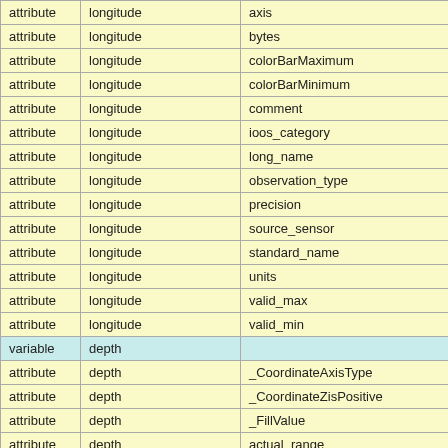|  |  |  |
| --- | --- | --- |
| attribute | longitude | axis |
| attribute | longitude | bytes |
| attribute | longitude | colorBarMaximum |
| attribute | longitude | colorBarMinimum |
| attribute | longitude | comment |
| attribute | longitude | ioos_category |
| attribute | longitude | long_name |
| attribute | longitude | observation_type |
| attribute | longitude | precision |
| attribute | longitude | source_sensor |
| attribute | longitude | standard_name |
| attribute | longitude | units |
| attribute | longitude | valid_max |
| attribute | longitude | valid_min |
| variable | depth |  |
| attribute | depth | _CoordinateAxisType |
| attribute | depth | _CoordinateZisPositive |
| attribute | depth | _FillValue |
| attribute | depth | actual_range |
| attribute | depth | axis |